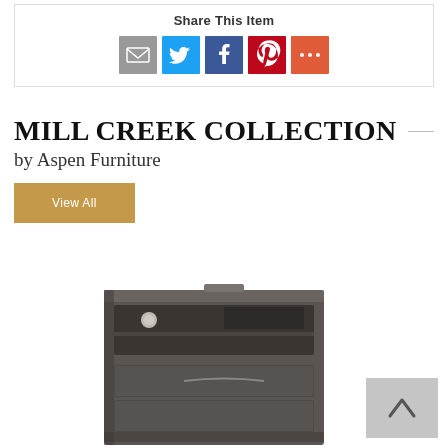Share This Item
[Figure (infographic): Social share icons: email (grey), Twitter (blue), Facebook (dark blue), Pinterest (red), More (orange-red)]
MILL CREEK COLLECTION
by Aspen Furniture
View All
[Figure (photo): Dark grey nightstand/chest of drawers from the Mill Creek Collection by Aspen Furniture, showing open compartment and drawer hardware]